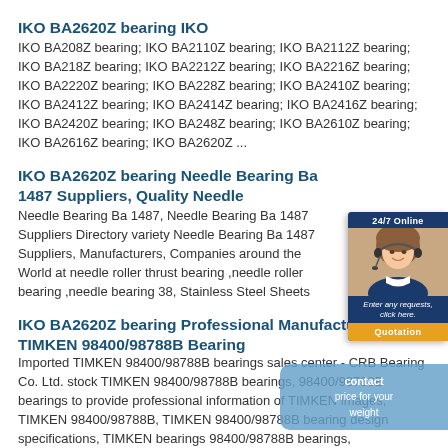IKO BA2620Z bearing IKO
IKO BA208Z bearing; IKO BA2110Z bearing; IKO BA2112Z bearing; IKO BA218Z bearing; IKO BA2212Z bearing; IKO BA2216Z bearing; IKO BA2220Z bearing; IKO BA228Z bearing; IKO BA2410Z bearing; IKO BA2412Z bearing; IKO BA2414Z bearing; IKO BA2416Z bearing; IKO BA2420Z bearing; IKO BA248Z bearing; IKO BA2610Z bearing; IKO BA2616Z bearing; IKO BA2620Z ...
IKO BA2620Z bearing Needle Bearing Ba 1487 Suppliers, Quality Needle
Needle Bearing Ba 1487, Needle Bearing Ba 1487 Suppliers Directory variety Needle Bearing Ba 1487 Suppliers, Manufacturers, Companies around the World at needle roller thrust bearing ,needle roller bearing ,needle bearing 38, Stainless Steel Sheets
[Figure (photo): Customer service representative with headset, 24/7 Online chat widget with quotation button]
IKO BA2620Z bearing Professional Manufacture TIMKEN 98400/98788B Bearing
Imported TIMKEN 98400/98788B bearings sales center - CRB Bearing Co. Ltd. stock TIMKEN 98400/98788B bearings, 98400/98788B bearings to provide professional information of TIMKEN images, TIMKEN 98400/98788B, TIMKEN 98400/98788B bearing design specifications, TIMKEN bearings 98400/98788B bearings, 98400/98788B bearing TIMKEN price for your weight!
[Figure (other): Contact overlay: price for your weight - blue rounded button overlay]